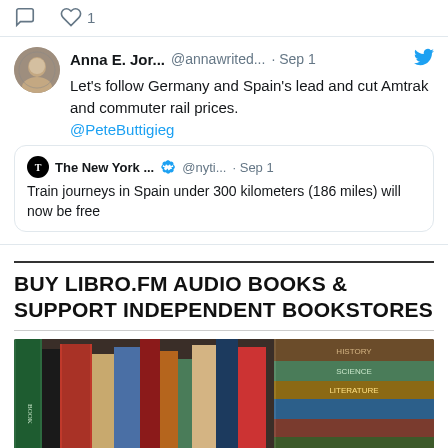[Figure (screenshot): Social media action icons: reply bubble and heart with count '1']
[Figure (screenshot): Tweet by Anna E. Jor... (@annawrited...) dated Sep 1 saying: Let's follow Germany and Spain's lead and cut Amtrak and commuter rail prices. @PeteButtigieg. Quoted tweet from The New York Times (@nyti...) Sep 1: Train journeys in Spain under 300 kilometers (186 miles) will now be free]
BUY LIBRO.FM AUDIO BOOKS & SUPPORT INDEPENDENT BOOKSTORES
[Figure (photo): Photo of stacked books with colorful spines — green, red, blue, brown — arranged horizontally and vertically]